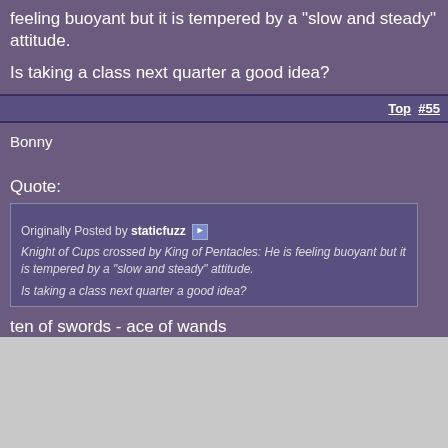feeling buoyant but it is tempered by a "slow and steady" attitude.
Is taking a class next quarter a good idea?
Top  #55
Bonny
Quote:
Originally Posted by staticfuzz
Knight of Cups crossed by King of Pentacles: He is feeling buoyant but it is tempered by a "slow and steady" attitude.

Is taking a class next quarter a good idea?
ten of swords - ace of wands